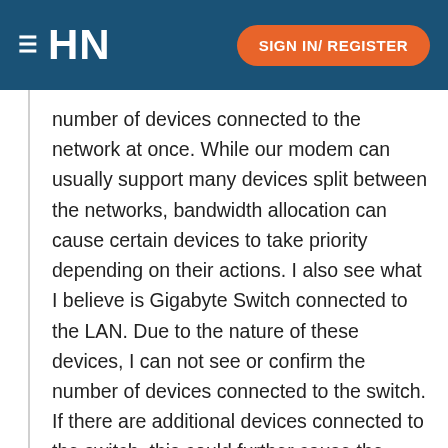HN | SIGN IN/ REGISTER
number of devices connected to the network at once. While our modem can usually support many devices split between the networks, bandwidth allocation can cause certain devices to take priority depending on their actions. I also see what I believe is Gigabyte Switch connected to the LAN. Due to the nature of these devices, I can not see or confirm the number of devices connected to the switch. If there are additional devices connected to the switch, this could further cause the issue I believe you